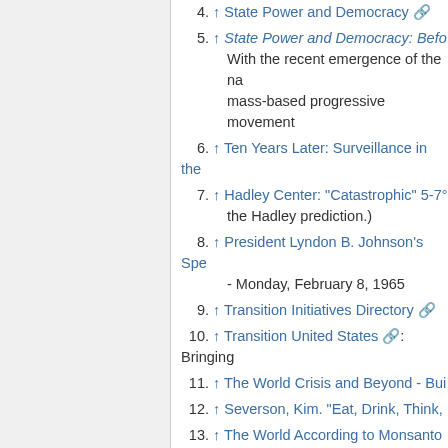4. ↑ State Power and Democracy [external link]
5. ↑ State Power and Democracy: Befo... With the recent emergence of the na... mass-based progressive movement...
6. ↑ Ten Years Later: Surveillance in the...
7. ↑ Hadley Center: "Catastrophic" 5-7°... the Hadley prediction.)
8. ↑ President Lyndon B. Johnson's Spe... - Monday, February 8, 1965
9. ↑ Transition Initiatives Directory [external link]
10. ↑ Transition United States [external link]: Bringing...
11. ↑ The World Crisis and Beyond - Bui...
12. ↑ Severson, Kim. "Eat, Drink, Think,...
13. ↑ The World According to Monsanto...
14. ↑ The World According to Monsanto...
15. ↑ Testing Theories of American Politi...
16. ↑ Occupy Student Debt: Students Ur...
17. ↑ OCCUPY STUDENT DEBT CAMP...
18. ↑ Report of the Commission of Expe...